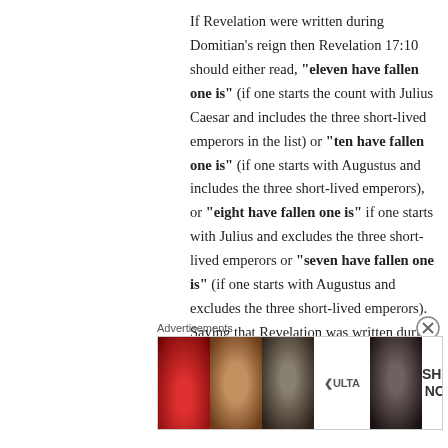If Revelation were written during Domitian's reign then Revelation 17:10 should either read, "eleven have fallen one is" (if one starts the count with Julius Caesar and includes the three short-lived emperors in the list) or "ten have fallen one is" (if one starts with Augustus and includes the three short-lived emperors), or "eight have fallen one is" if one starts with Julius and excludes the three short-lived emperors or "seven have fallen one is" (if one starts with Augustus and excludes the three short-lived emperors). Saying that Revelation was written during Domitian's reign simply can
Advertisements
[Figure (photo): Ulta Beauty advertisement banner showing cosmetic images including lips with lipstick, makeup brush, eye makeup looks, Ulta logo, and SHOP NOW call to action]